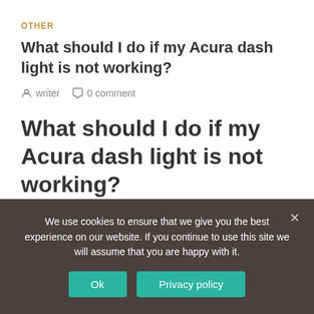OTHER
What should I do if my Acura dash light is not working?
writer  0 comment
What should I do if my Acura dash light is not working?
The easiest light to get to to test out would probably be the shifter light. Take a flathead and pop off the plastic trim around the shifter. Take off the diffuser thing and the light
We use cookies to ensure that we give you the best experience on our website. If you continue to use this site we will assume that you are happy with it.